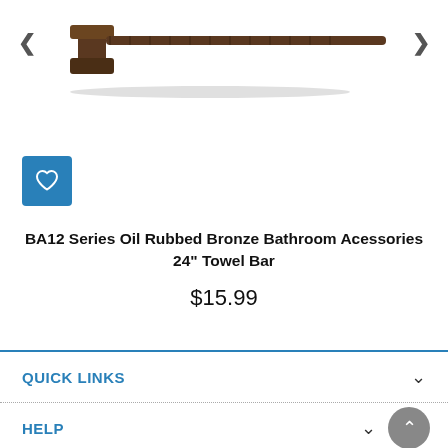[Figure (photo): Product photo of BA12 Series Oil Rubbed Bronze 24-inch towel bar mounted on bracket, showing dark bronze finish hardware against white background. Navigation arrows (< >) on left and right sides.]
BA12 Series Oil Rubbed Bronze Bathroom Acessories 24" Towel Bar
$15.99
QUICK LINKS
HELP
CONTACT US